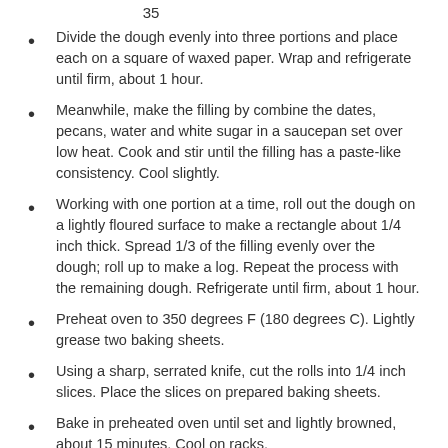Divide the dough evenly into three portions and place each on a square of waxed paper. Wrap and refrigerate until firm, about 1 hour.
Meanwhile, make the filling by combine the dates, pecans, water and white sugar in a saucepan set over low heat. Cook and stir until the filling has a paste-like consistency. Cool slightly.
Working with one portion at a time, roll out the dough on a lightly floured surface to make a rectangle about 1/4 inch thick. Spread 1/3 of the filling evenly over the dough; roll up to make a log. Repeat the process with the remaining dough. Refrigerate until firm, about 1 hour.
Preheat oven to 350 degrees F (180 degrees C). Lightly grease two baking sheets.
Using a sharp, serrated knife, cut the rolls into 1/4 inch slices. Place the slices on prepared baking sheets.
Bake in preheated oven until set and lightly browned, about 15 minutes. Cool on racks.
This is a recipe from Allrecipes and can be found here. It's not the exact one my momma makes- but it is basically the